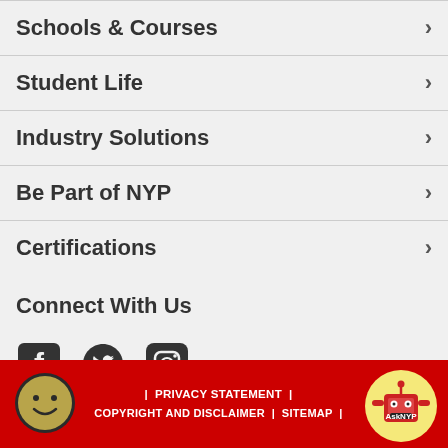Schools & Courses
Student Life
Industry Solutions
Be Part of NYP
Certifications
Connect With Us
[Figure (illustration): Social media icons: Facebook, Twitter, Instagram]
| PRIVACY STATEMENT | COPYRIGHT AND DISCLAIMER | SITEMAP |